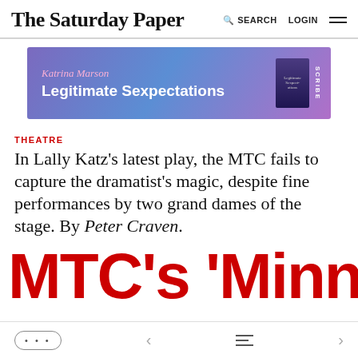The Saturday Paper  SEARCH  LOGIN
[Figure (illustration): Advertisement banner for 'Legitimate Sexpectations' by Katrina Marson, published by Scribe. Purple/blue gradient background with book cover image on right.]
THEATRE
In Lally Katz's latest play, the MTC fails to capture the dramatist's magic, despite fine performances by two grand dames of the stage. By Peter Craven.
MTC's 'Minnie &
... < ≡ >